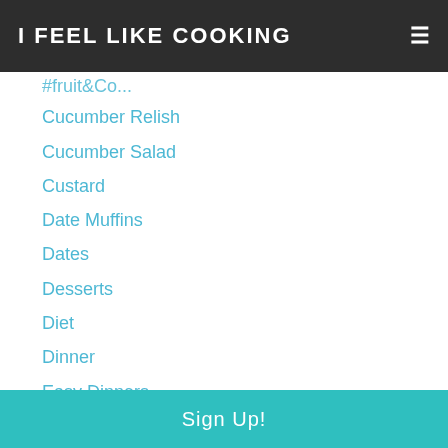I FEEL LIKE COOKING
Cucumber Relish
Cucumber Salad
Custard
Date Muffins
Dates
Desserts
Diet
Dinner
Easy Dinners
Easy Soups
Eggplant
Enchilada Hand Pies
Enchiladas
Espresso Balsamic
Sign Up!